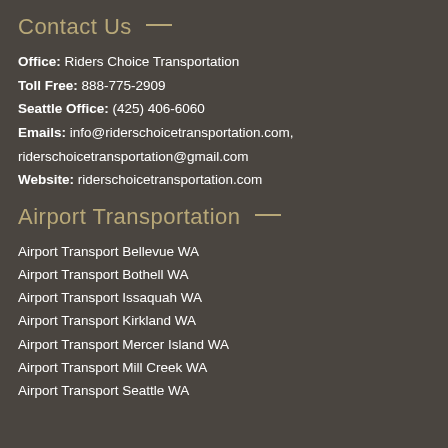Contact Us
Office: Riders Choice Transportation
Toll Free: 888-775-2909
Seattle Office: (425) 406-6060
Emails: info@riderschoicetransportation.com, riderschoicetransportation@gmail.com
Website: riderschoicetransportation.com
Airport Transportation
Airport Transport Bellevue WA
Airport Transport Bothell WA
Airport Transport Issaquah WA
Airport Transport Kirkland WA
Airport Transport Mercer Island WA
Airport Transport Mill Creek WA
Airport Transport Seattle WA